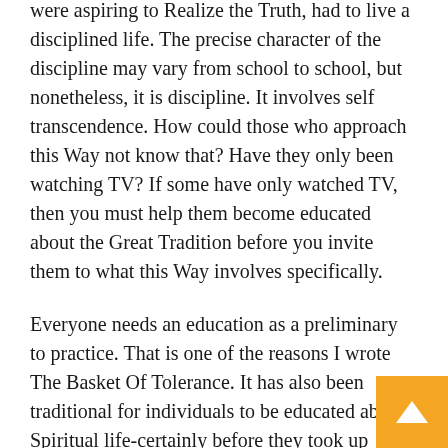were aspiring to Realize the Truth, had to live a disciplined life. The precise character of the discipline may vary from school to school, but nonetheless, it is discipline. It involves self transcendence. How could those who approach this Way not know that? Have they only been watching TV? If some have only watched TV, then you must help them become educated about the Great Tradition before you invite them to what this Way involves specifically.
Everyone needs an education as a preliminary to practice. That is one of the reasons I wrote The Basket Of Tolerance. It has also been traditional for individuals to be educated about Spiritual life-certainly before they took up advanced practices, or anything beyond the ordinary religious life and its rules. You must be educated in order to become informed about the Great Tradition, but you must